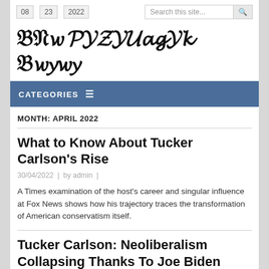08 / 23 / 2022
The Paraguay Times
CATEGORIES ≡
MONTH: APRIL 2022
What to Know About Tucker Carlson's Rise
30/04/2022 | by admin |
A Times examination of the host's career and singular influence at Fox News shows how his trajectory traces the transformation of American conservatism itself.
Tucker Carlson: Neoliberalism Collapsing Thanks To Joe Biden
30/04/2022 | by admin |